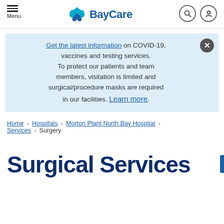Menu | BayCare
Get the latest information on COVID-19, vaccines and testing services. To protect our patients and team members, visitation is limited and surgical/procedure masks are required in our facilities. Learn more.
Home > Hospitals > Morton Plant North Bay Hospital > Services > Surgery
Surgical Services